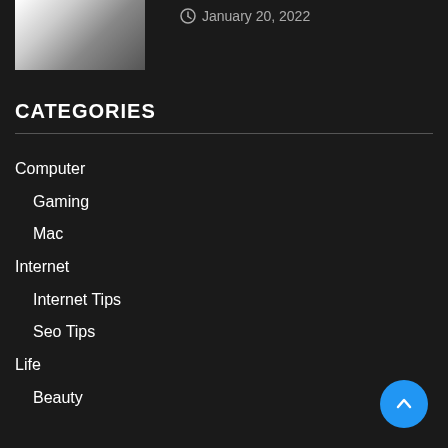[Figure (photo): Thumbnail image of a laptop/computer device, partially visible at top left]
January 20, 2022
CATEGORIES
Computer
Gaming
Mac
Internet
Internet Tips
Seo Tips
Life
Beauty